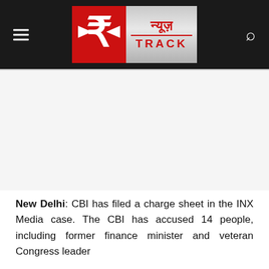न्यूज़ TRACK (News Track logo header)
New Delhi: CBI has filed a charge sheet in the INX Media case. The CBI has accused 14 people, including former finance minister and veteran Congress leader